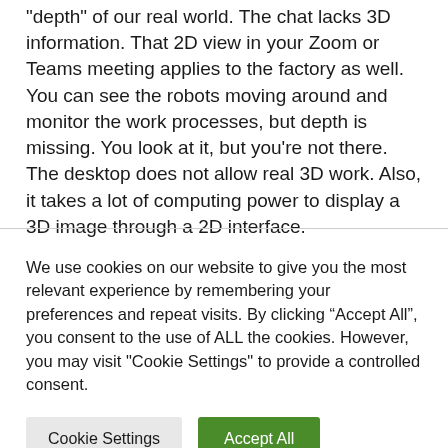"depth" of our real world. The chat lacks 3D information. That 2D view in your Zoom or Teams meeting applies to the factory as well. You can see the robots moving around and monitor the work processes, but depth is missing. You look at it, but you're not there. The desktop does not allow real 3D work. Also, it takes a lot of computing power to display a 3D image through a 2D interface.
We use cookies on our website to give you the most relevant experience by remembering your preferences and repeat visits. By clicking “Accept All”, you consent to the use of ALL the cookies. However, you may visit "Cookie Settings" to provide a controlled consent.
Cookie Settings | Accept All